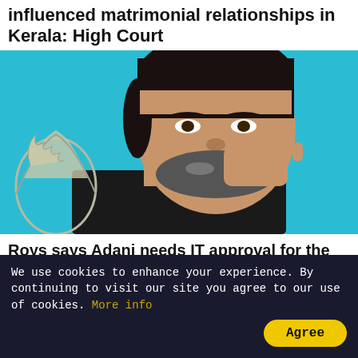influenced matrimonial relationships in Kerala: High Court
[Figure (photo): Man with beard resting chin on hand, with silver trophy or sculpture in the foreground, against a blue background]
Roys says Adani needs IT approval for the conversion of warrants into stake in NDTV
[Figure (photo): Partial image of what appears to be a gold/yellow colored object, possibly a coin or bag]
We use cookies to enhance your experience. By continuing to visit our site you agree to our use of cookies. More info
Agree